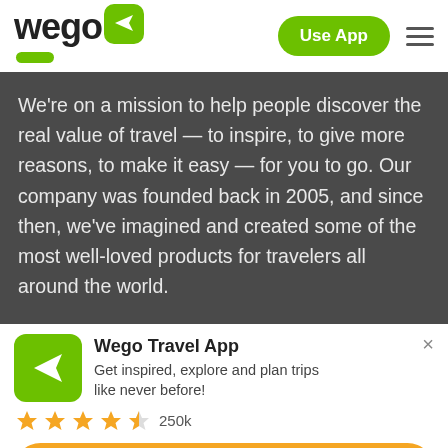[Figure (logo): Wego logo with airplane icon and green rounded rectangle, plus Use App button and hamburger menu]
We're on a mission to help people discover the real value of travel — to inspire, to give more reasons, to make it easy — for you to go. Our company was founded back in 2005, and since then, we've imagined and created some of the most well-loved products for travelers all around the world.
Wego Travel App
Get inspired, explore and plan trips like never before!
★★★★½ 250k
DOWNLOAD APP NOW